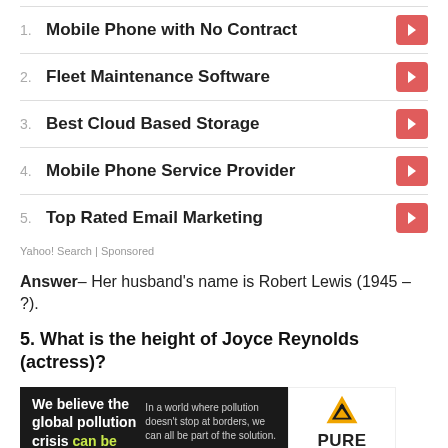1. Mobile Phone with No Contract
2. Fleet Maintenance Software
3. Best Cloud Based Storage
4. Mobile Phone Service Provider
5. Top Rated Email Marketing
Yahoo! Search | Sponsored
Answer– Her husband's name is Robert Lewis (1945 – ?).
5. What is the height of Joyce Reynolds (actress)?
[Figure (other): Advertisement banner for Pure Earth with black background on left reading 'We believe the global pollution crisis can be solved.' with additional text 'In a world where pollution doesn't stop at borders, we can all be part of the solution. JOIN US.' and Pure Earth logo on right.]